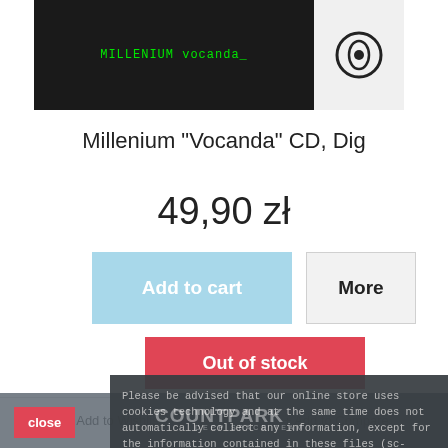[Figure (screenshot): Product image of Millenium Vocanda CD with dark background showing green text 'MILLENIUM vocanda_' and a circular eye logo on the right]
Millenium "Vocanda" CD, Dig
49,90 zł
Add to cart
More
Out of stock
♡ Add to Wishlist
+ Add to Compare
Please be advised that our online store uses cookies technology and at the same time does not automatically collect any information, except for the information contained in these files (sc-called "cookies").
close